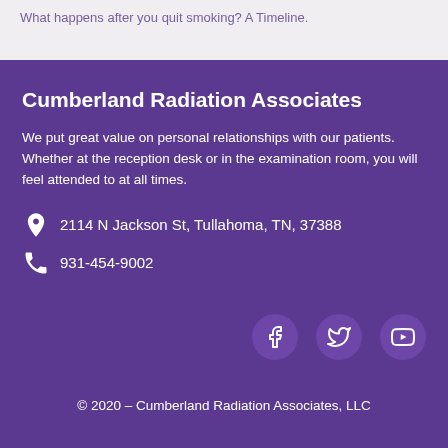What happens after you quit smoking? A Timeline.
Cumberland Radiation Associates
We put great value on personal relationships with our patients. Whether at the reception desk or in the examination room, you will feel attended to at all times.
2114 N Jackson St, Tullahoma, TN, 37388
931-454-9002
[Figure (logo): Social media icons: Facebook, Twitter, YouTube circles]
© 2020 – Cumberland Radiation Associates, LLC